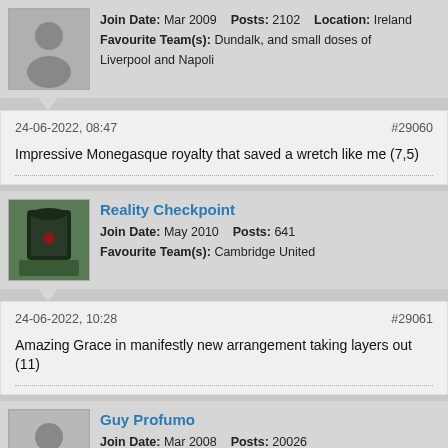Join Date: Mar 2009    Posts: 2102    Location: Ireland
Favourite Team(s): Dundalk, and small doses of Liverpool and Napoli
24-06-2022, 08:47
#29060
Impressive Monegasque royalty that saved a wretch like me (7,5)
Reality Checkpoint
Join Date: May 2010    Posts: 641
Favourite Team(s): Cambridge United
24-06-2022, 10:28
#29061
Amazing Grace in manifestly new arrangement taking layers out (11)
Guy Profumo
Join Date: Mar 2008    Posts: 20026
Location: The House with the Golden Windows